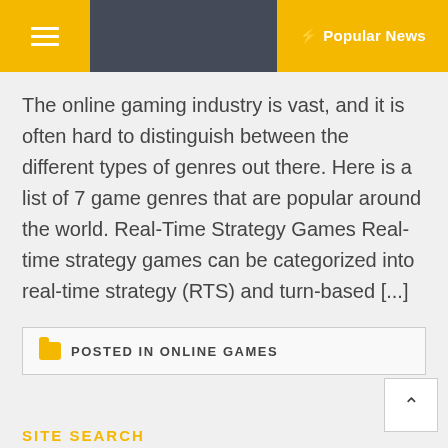≡  + Popular News
The online gaming industry is vast, and it is often hard to distinguish between the different types of genres out there. Here is a list of 7 game genres that are popular around the world. Real-Time Strategy Games Real-time strategy games can be categorized into real-time strategy (RTS) and turn-based [...]
POSTED IN ONLINE GAMES
SITE SEARCH
Search ...